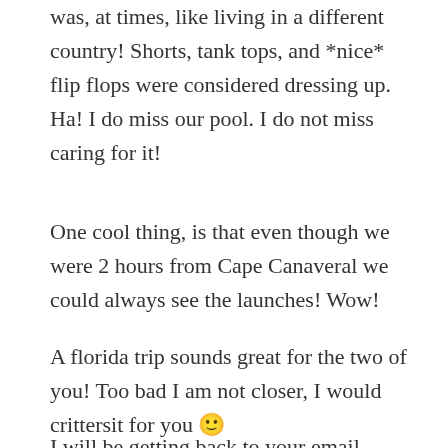was, at times, like living in a different country! Shorts, tank tops, and *nice* flip flops were considered dressing up. Ha! I do miss our pool. I do not miss caring for it!
One cool thing, is that even though we were 2 hours from Cape Canaveral we could always see the launches! Wow!
A florida trip sounds great for the two of you! Too bad I am not closer, I would crittersit for you 🙂
I will be getting back to your email